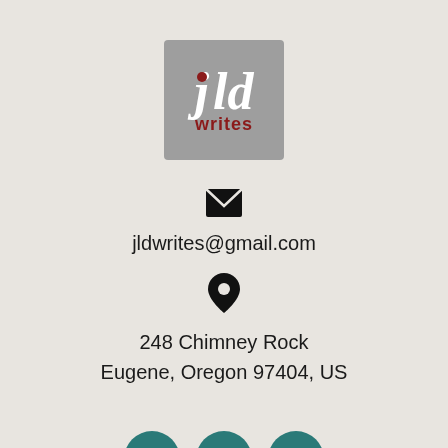[Figure (logo): jld writes logo — grey square with white italic letters j, l, d and dark red dot above j, with 'writes' in dark red below]
jldwrites@gmail.com
248 Chimney Rock
Eugene, Oregon 97404, US
[Figure (other): Row of three teal social media circles: Facebook (f), LinkedIn (in), Amazon (a)]